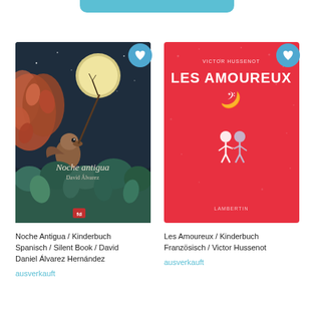[Figure (illustration): Book cover of 'Noche antigua' by David Álvarez — dark night scene with illustrated bird/hedgehog creature holding a pole with moon, surrounded by colorful leaves and plants]
[Figure (illustration): Book cover of 'Les Amoureux' by Victor Hussenot — bright red cover with white title text and small illustrated figures of two characters]
Noche Antigua / Kinderbuch Spanisch / Silent Book / David Daniel Álvarez Hernández
ausverkauft
Les Amoureux / Kinderbuch Französisch / Victor Hussenot
ausverkauft